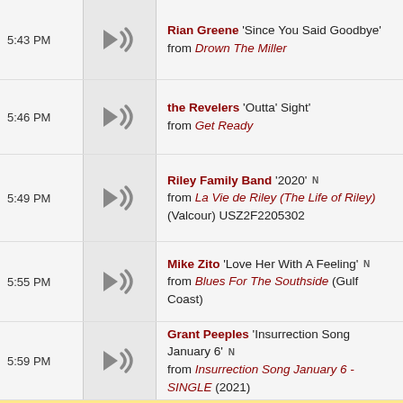5:43 PM — Rian Greene 'Since You Said Goodbye' from Drown The Miller
5:46 PM — the Revelers 'Outta' Sight' from Get Ready
5:49 PM — Riley Family Band '2020' N from La Vie de Riley (The Life of Riley) (Valcour) USZ2F2205302
5:55 PM — Mike Zito 'Love Her With A Feeling' N from Blues For The Southside (Gulf Coast)
5:59 PM — Grant Peeples 'Insurrection Song January 6' N from Insurrection Song January 6 - SINGLE (2021)